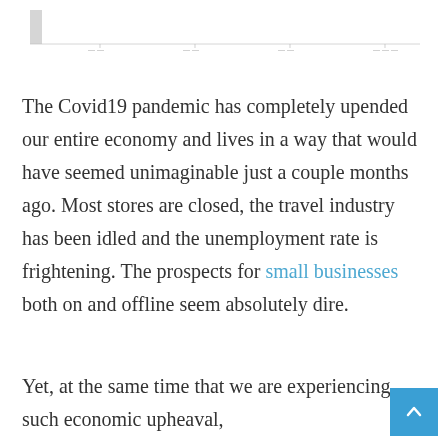[Figure (continuous-plot): Partial view of a chart or graph at the top of the page, mostly cropped, showing faint axis lines and a small bar or mark on the left side.]
The Covid19 pandemic has completely upended our entire economy and lives in a way that would have seemed unimaginable just a couple months ago. Most stores are closed, the travel industry has been idled and the unemployment rate is frightening. The prospects for small businesses both on and offline seem absolutely dire.
Yet, at the same time that we are experiencing such economic upheaval,